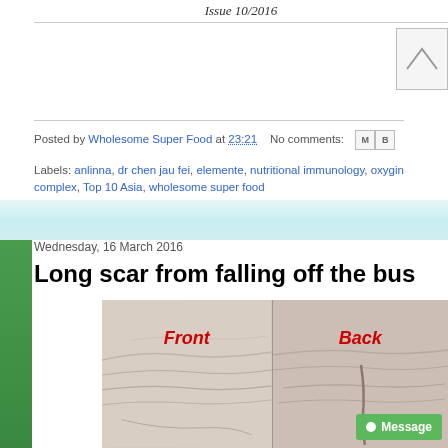Issue 10/2016
Posted by Wholesome Super Food at 23:21   No comments:
Labels: anlinna, dr chen jau fei, elemente, nutritional immunology, oxygir complex, Top 10 Asia, wholesome super food
Wednesday, 16 March 2016
Long scar from falling off the bus
[Figure (photo): Two side-by-side photos of a wrist/arm showing a long scar, labeled 'Front' and 'Back' in red italic text. A green 'Message' button appears in the bottom right corner.]